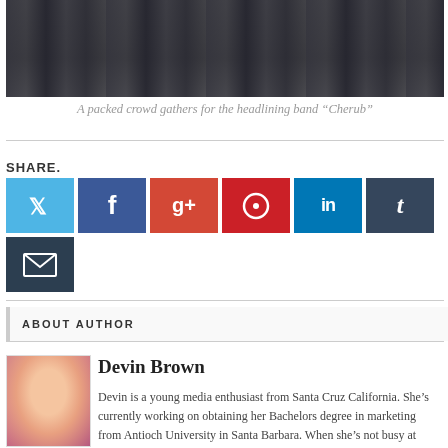[Figure (photo): A packed crowd of people gathered at a music event, shown in dark tones]
A packed crowd gathers for the headlining band “Cherub”
SHARE.
[Figure (infographic): Social share buttons: Twitter, Facebook, Google+, Pinterest, LinkedIn, Tumblr, Email]
ABOUT AUTHOR
[Figure (photo): Author photo of Devin Brown, a young woman with pink/red hair, smiling]
Devin Brown
Devin is a young media enthusiast from Santa Cruz California. She’s currently working on obtaining her Bachelors degree in marketing from Antioch University in Santa Barbara. When she’s not busy at school or work, she spends her